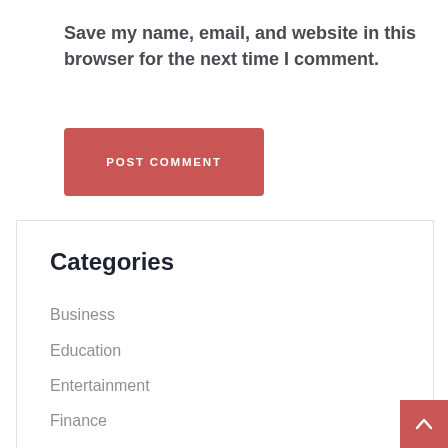Save my name, email, and website in this browser for the next time I comment.
POST COMMENT
Categories
Business
Education
Entertainment
Finance